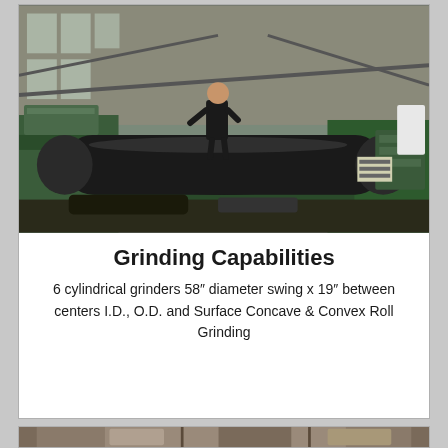[Figure (photo): Industrial grinding machine in a large factory/workshop setting. A man in dark clothing stands on top of a large cylindrical black roll on a green industrial cylindrical grinder. The workshop has large windows and metal framework in the background.]
Grinding Capabilities
6 cylindrical grinders 58″ diameter swing x 19″ between centers I.D., O.D. and Surface Concave & Convex Roll Grinding
[Figure (photo): Industrial machinery in a workshop, partially visible at the bottom of the page.]